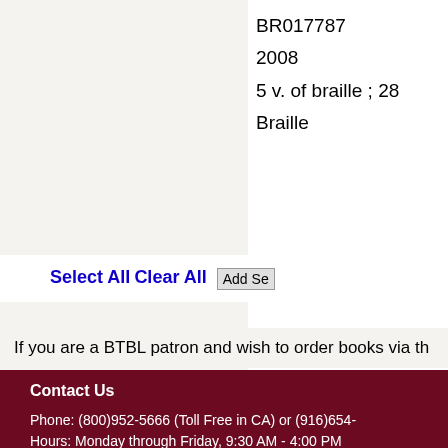BR017787
2008
5 v. of braille ; 28
Braille
Select All  Clear All  Add Se
If you are a BTBL patron and wish to order books via th
Contact Us
Phone: (800)952-5666 (Toll Free in CA) or (916)654-
Hours: Monday through Friday, 9:30 AM - 4:00 PM